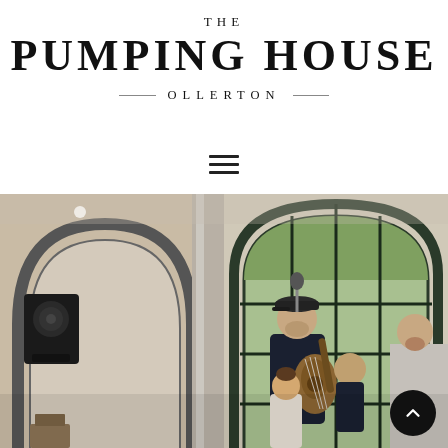THE
PUMPING HOUSE
OLLERTON
[Figure (photo): Interior event photo of The Pumping House Ollerton venue showing a musician playing guitar and singing into a microphone in front of a large arched window, with a child standing nearby and another person to the right, brick arches and columns visible in the background.]